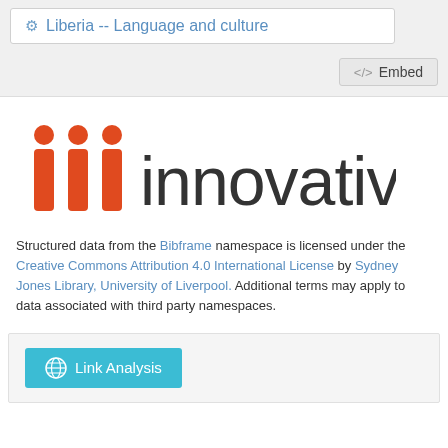Liberia -- Language and culture
<> Embed
[Figure (logo): Innovative Interfaces (iii) logo — three red/orange vertical bar shapes followed by the word 'innovative' in dark gray]
Structured data from the Bibframe namespace is licensed under the Creative Commons Attribution 4.0 International License by Sydney Jones Library, University of Liverpool. Additional terms may apply to data associated with third party namespaces.
Link Analysis